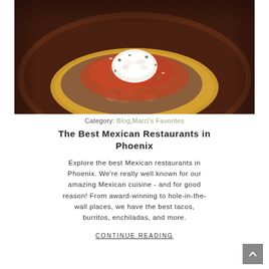[Figure (photo): Close-up photo of a Mexican tostada topped with pinto beans, red salsa, crumbled white cheese (queso fresco), and chopped herbs on a dark plate]
Category: Blog, Marci's Favorites
The Best Mexican Restaurants in Phoenix
Explore the best Mexican restaurants in Phoenix. We're really well known for our amazing Mexican cuisine - and for good reason! From award-winning to hole-in-the-wall places, we have the best tacos, burritos, enchiladas, and more.
CONTINUE READING